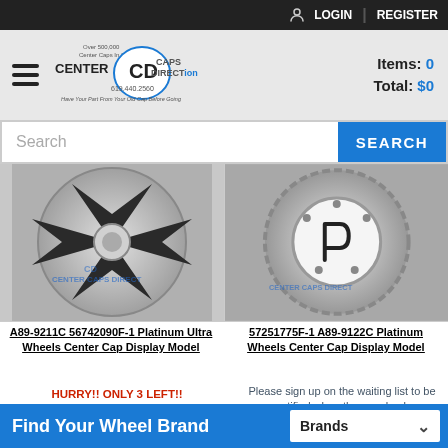LOGIN | REGISTER
[Figure (logo): Center Caps Direct logo with hamburger menu and cart info showing Items: 0, Total: $0]
Items: 0  Total: $0
Search
[Figure (photo): A89-9211C 56742090F-1 Platinum Ultra Wheels Center Cap Display Model - silver and black wheel center cap with Center Caps Direct watermark]
[Figure (photo): 57251775F-1 A89-9122C Platinum Wheels Center Cap Display Model - silver wheel center cap with P logo and Center Caps Direct watermark]
A89-9211C 56742090F-1 Platinum Ultra Wheels Center Cap Display Model
HURRY!! ONLY 3 LEFT!!
57251775F-1 A89-9122C Platinum Wheels Center Cap Display Model
Please sign up on the waiting list to be notified when they are back
Find Your Wheel Brand   Brands